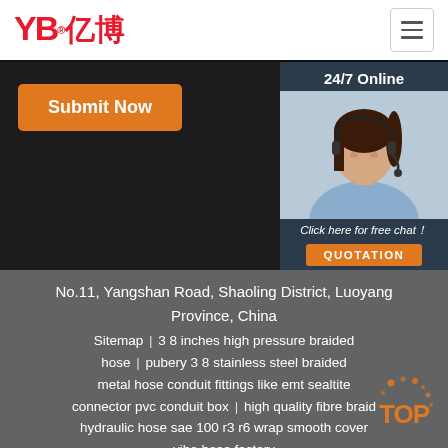[Figure (logo): YB亿博 logo in red with registered trademark symbol]
[Figure (illustration): Hamburger menu button icon]
[Figure (photo): Submit Now orange button]
[Figure (photo): 24/7 Online customer service panel with female agent wearing headset, Click here for free chat text, and QUOTATION button]
No.11, Yangshan Road, Shaoling District, Luoyang Province, China
Sitemap | 3 8 inches high pressure braided hose | pubery 3 8 stainless steel braided metal hose conduit fittings like emt sealtite connector pvc conduit box | high quality fibre braid hydraulic hose sae 100 r3 r6 wrap smooth cover yibo hose factory
[Figure (logo): TOP logo with orange dots and text in bottom right corner]